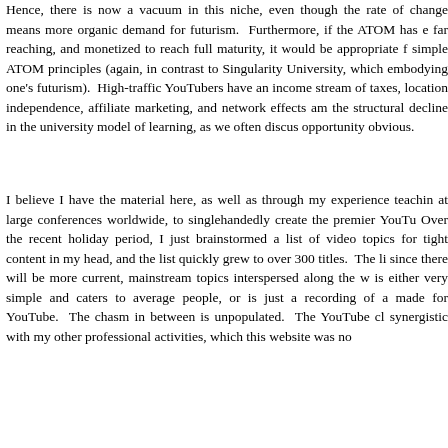Hence, there is now a vacuum in this niche, even though the rate of change means more organic demand for futurism. Furthermore, if the ATOM has ever far reaching, and monetized to reach full maturity, it would be appropriate f simple ATOM principles (again, in contrast to Singularity University, which embodying one's futurism). High-traffic YouTubers have an income stream of taxes, location independence, affiliate marketing, and network effects am the structural decline in the university model of learning, as we often discus opportunity obvious.
I believe I have the material here, as well as through my experience teachin at large conferences worldwide, to singlehandedly create the premier YouTu Over the recent holiday period, I just brainstormed a list of video topics for tight content in my head, and the list quickly grew to over 300 titles. The li since there will be more current, mainstream topics interspersed along the w is either very simple and caters to average people, or is just a recording of a made for YouTube. The chasm in between is unpopulated. The YouTube cl synergistic with my other professional activities, which this website was no
This is one of those things where I am surprised and bit annoyed that this di this website began, I was 32, whereas now I am 47. While YouTube wasn't that for video purposes, a 32-year-old is always going to be more telegenic t should have began in 2015 when I was writing the ATOM publication, or in again, almost all of the best instructional videos on YouTube about how to u channel all seem to have been posted in the last 12 months, and I might not recently. It is definitely not too late, certainly for this niche.
My goals for the channel are simple. Among those are that I would like to e and 1 million hours of cumulative view time. There will be little traffic unt after which traffic rises exponentially. I will have to put in over a thousand costs before seeing anything, but as this replaces many other activities inc